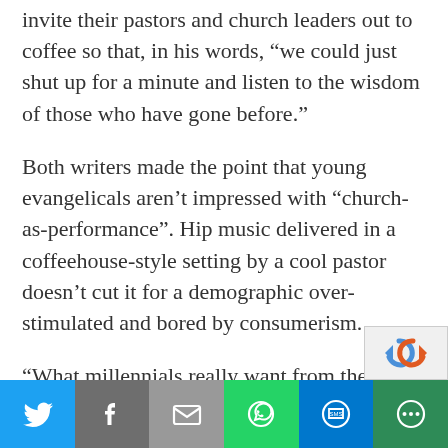invite their pastors and church leaders out to coffee so that, in his words, “we could just shut up for a minute and listen to the wisdom of those who have gone before.”
Both writers made the point that young evangelicals aren’t impressed with “church-as-performance”. Hip music delivered in a coffeehouse-style setting by a cool pastor doesn’t cut it for a demographic over-stimulated and bored by consumerism.
“What millennials really want from the church is not a change in style but a change in substance,” said Evans. McCracken
[Figure (infographic): Social sharing bar with icons for Twitter, Facebook, Email, WhatsApp, SMS, and More options]